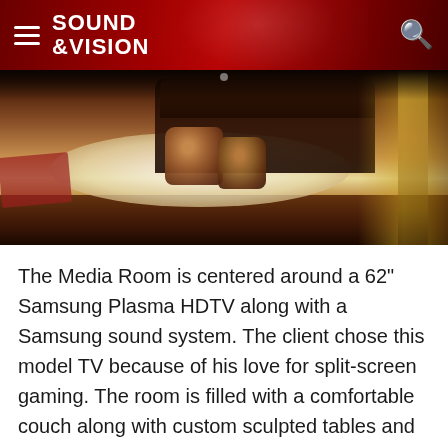SOUND &VISION
[Figure (photo): Interior photo of a media room with cave-like atmosphere, showing a dark couch, wooden stump tables on a white rug, warm brown tones, and curtains in the background]
The Media Room is centered around a 62" Samsung Plasma HDTV along with a Samsung sound system. The client chose this model TV because of his love for split-screen gaming. The room is filled with a comfortable couch along with custom sculpted tables and shelves with layers of textured details that create the room's cave-like atmosphere. The faux rocks in this room intentionally have more warm brown tones versus the gray tones in the prop room. Stalactites mingle with pipes in the back